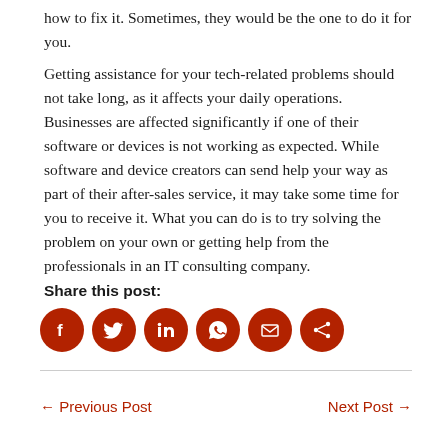how to fix it. Sometimes, they would be the one to do it for you.
Getting assistance for your tech-related problems should not take long, as it affects your daily operations. Businesses are affected significantly if one of their software or devices is not working as expected. While software and device creators can send help your way as part of their after-sales service, it may take some time for you to receive it. What you can do is to try solving the problem on your own or getting help from the professionals in an IT consulting company.
Share this post:
[Figure (infographic): Six dark red circular social media sharing icons: Facebook, Twitter, LinkedIn, WhatsApp, Email, Share]
← Previous Post    Next Post →